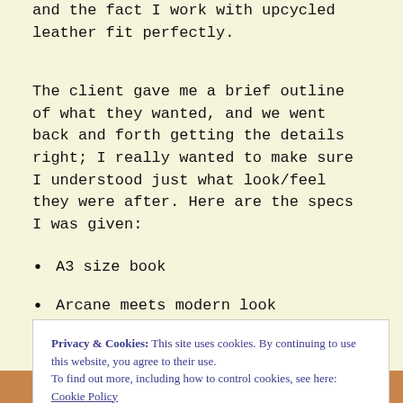and the fact I work with upcycled leather fit perfectly.
The client gave me a brief outline of what they wanted, and we went back and forth getting the details right; I really wanted to make sure I understood just what look/feel they were after. Here are the specs I was given:
A3 size book
Arcane meets modern look
Privacy & Cookies: This site uses cookies. By continuing to use this website, you agree to their use.
To find out more, including how to control cookies, see here:
Cookie Policy
[Figure (photo): Photo strip at the bottom showing leather/craft work in warm brown tones]